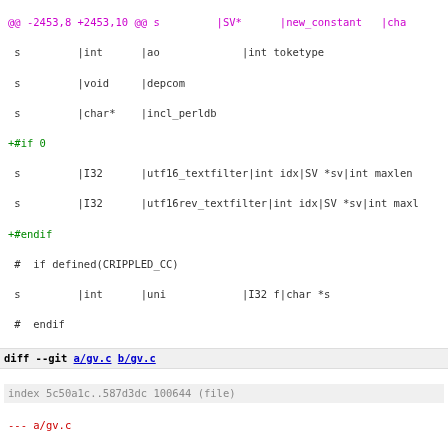[Figure (screenshot): Git diff output showing code changes in a source file, with magenta hunk headers, green additions, red deletions, and colored syntax highlighting on a white background.]